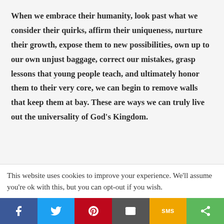When we embrace their humanity, look past what we consider their quirks, affirm their uniqueness, nurture their growth, expose them to new possibilities, own up to our own unjust baggage, correct our mistakes, grasp lessons that young people teach, and ultimately honor them to their very core, we can begin to remove walls that keep them at bay. These are ways we can truly live out the universality of God's Kingdom.
This website uses cookies to improve your experience. We'll assume you're ok with this, but you can opt-out if you wish.
[Figure (other): Social share bar with Facebook, Twitter, Pinterest, Email, SMS, and Share buttons]